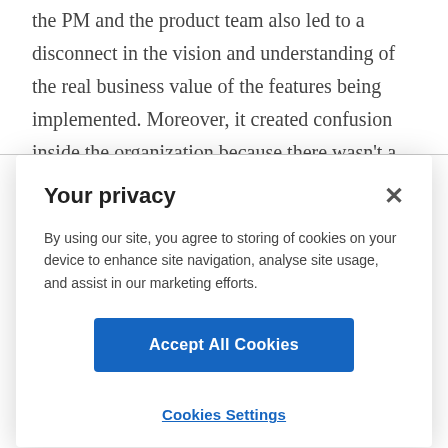the PM and the product team also led to a disconnect in the vision and understanding of the real business value of the features being implemented. Moreover, it created confusion inside the organization because there wasn't a
Your privacy
By using our site, you agree to storing of cookies on your device to enhance site navigation, analyse site usage, and assist in our marketing efforts.
Accept All Cookies
Cookies Settings
remote work set up, we ended up giving all the